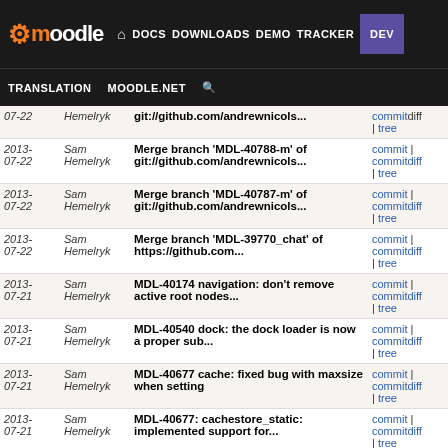Moodle navigation: DOCS DOWNLOADS DEMO TRACKER DEV TRANSLATION MOODLE.NET
| Date | Author | Commit Message | Links |
| --- | --- | --- | --- |
| 2013-07-22 | Sam Hemelryk | git://github.com/andrewnicols... | commit | commitdiff | tree |
| 2013-07-22 | Sam Hemelryk | Merge branch 'MDL-40788-m' of git://github.com/andrewnicols... | commit | commitdiff | tree |
| 2013-07-22 | Sam Hemelryk | Merge branch 'MDL-40787-m' of git://github.com/andrewnicols... | commit | commitdiff | tree |
| 2013-07-22 | Sam Hemelryk | Merge branch 'MDL-39770_chat' of https://github.com... | commit | commitdiff | tree |
| 2013-07-21 | Sam Hemelryk | MDL-40174 navigation: don't remove active root nodes... | commit | commitdiff | tree |
| 2013-07-21 | Sam Hemelryk | MDL-40540 dock: the dock loader is now a proper sub... | commit | commitdiff | tree |
| 2013-07-21 | Sam Hemelryk | MDL-40677 cache: fixed bug with maxsize when setting | commit | commitdiff | tree |
| 2013-07-21 | Sam Hemelryk | MDL-40677: cachestore_static: implemented support for... | commit | commitdiff | tree |
| 2013-07-21 | Sam Hemelryk | MDL-40677: cachestore_session: implemented support... | commit | commitdiff | tree |
| 2013-07-21 | Sam Hemelryk | MDL-40700 cache: memcache and memcached stores now... | commit | commitdiff | tree |
| 2013- | Chris | MDL-40700 cache: Validate memcache key... | commit | |